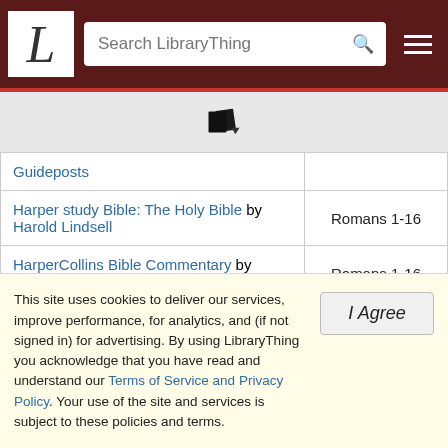LibraryThing - Search LibraryThing
[Figure (logo): LibraryThing books icon with dropdown arrow]
| Book | Coverage |
| --- | --- |
| Guideposts |  |
| Harper study Bible: The Holy Bible by Harold Lindsell | Romans 1-16 |
| HarperCollins Bible Commentary by James L. Mays | Romans 1-16 |
| The Holman Christian Standard Bible by Holman Bible Editorial Staff | Romans 1-16 |
| Holy Bible by Persian Bible, Tafsiri Translation | Romans 1-16 |
This site uses cookies to deliver our services, improve performance, for analytics, and (if not signed in) for advertising. By using LibraryThing you acknowledge that you have read and understand our Terms of Service and Privacy Policy. Your use of the site and services is subject to these policies and terms.